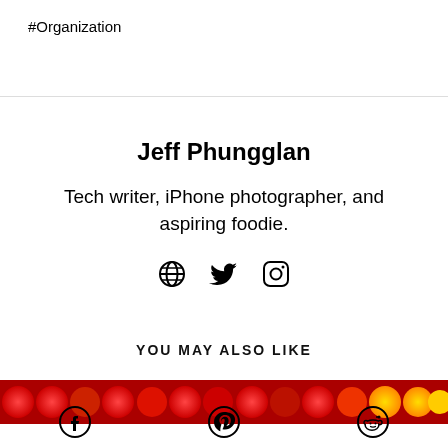#Organization
Jeff Phungglan
Tech writer, iPhone photographer, and aspiring foodie.
[Figure (other): Social media icons: globe, Twitter bird, Instagram camera]
YOU MAY ALSO LIKE
[Figure (photo): A banner image showing red and yellow objects, possibly food items close-up]
[Figure (other): Bottom navigation icons: Facebook, Pinterest, Reddit]